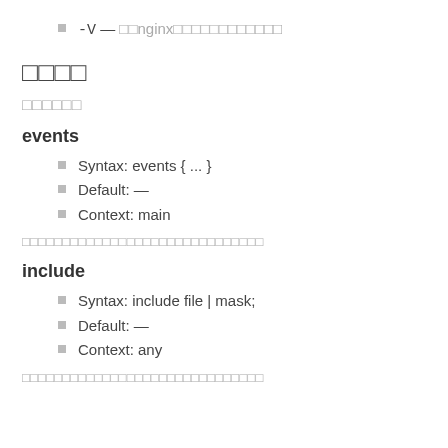-V — nginxのバージョン情報を表示します
設定項目
コアモジュール
events
Syntax: events { ... }
Default: —
Context: main
接続処理方法を設定するコンテキストを設定します。
include
Syntax: include file | mask;
Default: —
Context: any
指定したファイルまたはファイルマスクを設定に取り込みます。